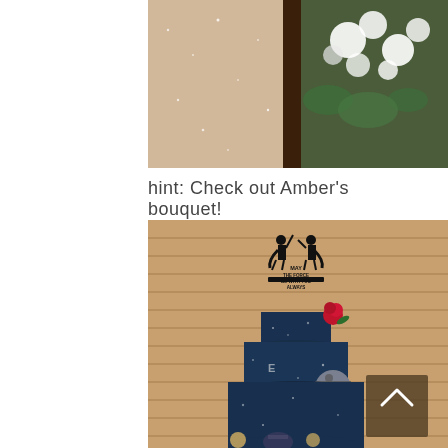[Figure (photo): Close-up photo of a sparkly wedding dress and white floral bouquet against a dark wooden background]
hint: Check out Amber's bouquet!
[Figure (photo): A Star Wars themed wedding cake with dark navy blue tiers decorated with stars and lightsaber elements, topped with silhouette cake topper reading 'May The Force Be With You Always', with a red rose accent and Death Star decorations, against a wooden plank wall background. A brown scroll-to-top button with a chevron arrow is visible in the lower right.]